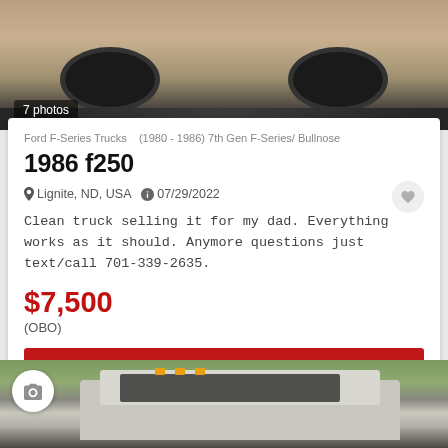[Figure (photo): Top-down cropped photo of undercarriage/tires of a truck on dirt/gravel surface]
7 photos
Ford F-Series Trucks   (1980 - 1986) 7th Gen F-Series/ Bullnose
1986 f250
Lignite, ND, USA   07/29/2022
Clean truck selling it for my dad. Everything works as it should. Anymore questions just text/call 701-339-2635.
$7,500
(OBO)
VIEW AD
[Figure (photo): Front view of a large white/silver truck (Ford F-250 style) parked in a wooded area with trees in background, amber marker lights on roof]